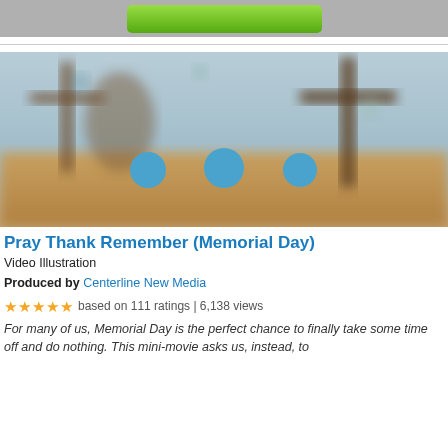[Figure (photo): Advertisement banner with green button at top]
[Figure (photo): Blurred image of three crosses against a sky background with three blue circular dots overlaid in the middle]
Pray Thank Remember (Memorial Day)
Video Illustration
Produced by Centerline New Media
★★★★★ based on 111 ratings | 6,138 views
For many of us, Memorial Day is the perfect chance to finally take some time off and do nothing. This mini-movie asks us, instead, to